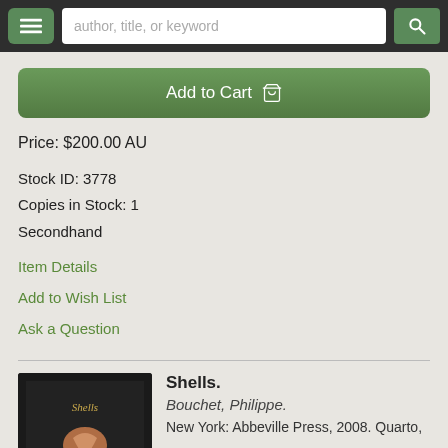author, title, or keyword
Add to Cart
Price: $200.00 AU
Stock ID: 3778
Copies in Stock: 1
Secondhand
Item Details
Add to Wish List
Ask a Question
[Figure (photo): Book cover of 'Shells' with dark background and decorative shell/figure illustration]
Shells.
Bouchet, Philippe.
New York: Abbeville Press, 2008. Quarto,